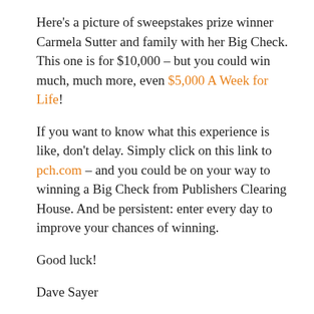Here's a picture of sweepstakes prize winner Carmela Sutter and family with her Big Check. This one is for $10,000 – but you could win much, much more, even $5,000 A Week for Life!
If you want to know what this experience is like, don't delay. Simply click on this link to pch.com – and you could be on your way to winning a Big Check from Publishers Clearing House. And be persistent: enter every day to improve your chances of winning.
Good luck!
Dave Sayer